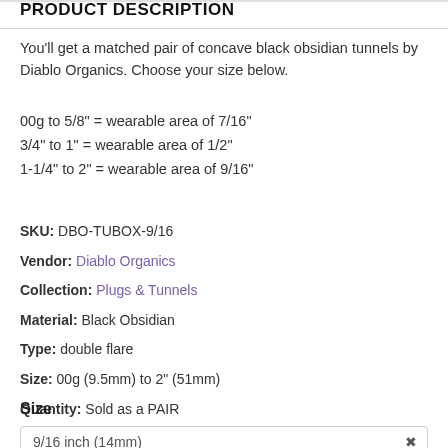PRODUCT DESCRIPTION
You'll get a matched pair of concave black obsidian tunnels by Diablo Organics. Choose your size below.
00g to 5/8" = wearable area of 7/16"
3/4" to 1" = wearable area of 1/2"
1-1/4" to 2" = wearable area of 9/16"
SKU: DBO-TUBOX-9/16
Vendor: Diablo Organics
Collection: Plugs & Tunnels
Material: Black Obsidian
Type: double flare
Size: 00g (9.5mm) to 2" (51mm)
Quantity: Sold as a PAIR
In stock! Usually ships within 2 business days.
Size
9/16 inch (14mm)